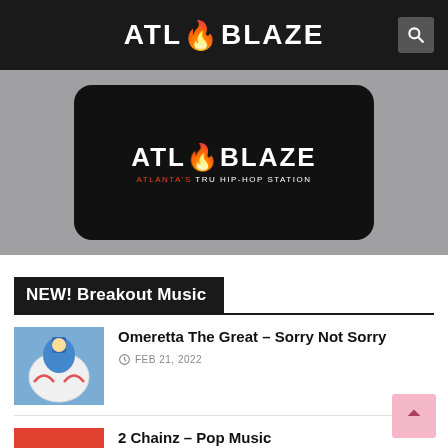ATL BLAZE
[Figure (photo): ATL Blaze logo on a phone screen displaying 'Atlanta's Tru Hip-Hop Station']
NEW! Breakout Music
Omeretta The Great – Sorry Not Sorry
FEB 21, 2022
2 Chainz – Pop Music